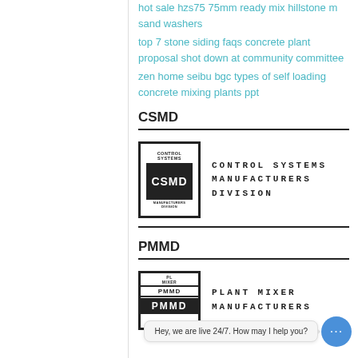hot sale hzs75 75mm ready mix hillstone m sand washers
top 7 stone siding faqs concrete plant proposal shot down at community committee
zen home seibu bgc types of self loading concrete mixing plants ppt
CSMD
[Figure (logo): CSMD Control Systems Manufacturers Division logo with box border and inner CSMD block letters, alongside text CONTROL SYSTEMS MANUFACTURERS DIVISION]
PMMD
[Figure (logo): PMMD Plant Mixer Manufacturers Division logo partially visible, alongside text PLANT MIXER MANUFACTURERS]
Hey, we are live 24/7. How may I help you?